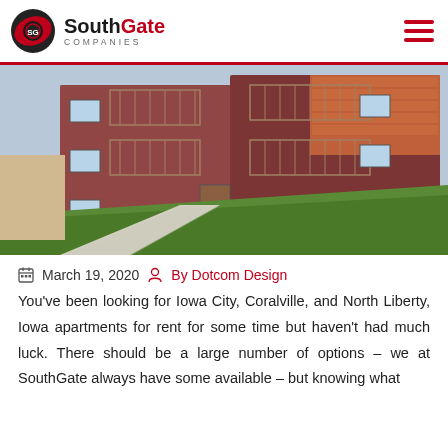SouthGate Companies
[Figure (photo): Exterior photo of a multi-story brick and red siding apartment building with balconies and green lawn in foreground, taken in a Midwestern US setting.]
March 19, 2020  By Dotcom Design
You've been looking for Iowa City, Coralville, and North Liberty, Iowa apartments for rent for some time but haven't had much luck. There should be a large number of options – we at SouthGate always have some available – but knowing what